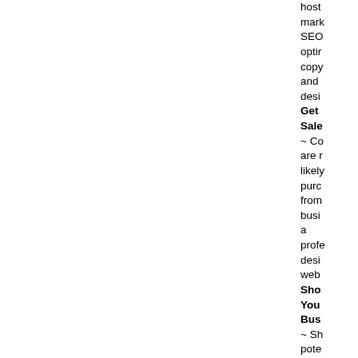host marketing SEO optim copy and desi
Get Sale
~ Co are r likely purc from busi a profe desi web
Sho You Bus
~ Sh pote cust wha your busi